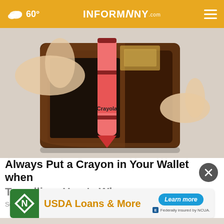60° INFORMNNY.com
[Figure (photo): Hands opening a brown leather wallet with a red Crayola crayon inside instead of money]
Always Put a Crayon in Your Wallet when Travelling, Here's Why
So go…
[Figure (infographic): USDA Loans & More advertisement banner with green N logo, Learn more button, and Federally insured by NCUA text]